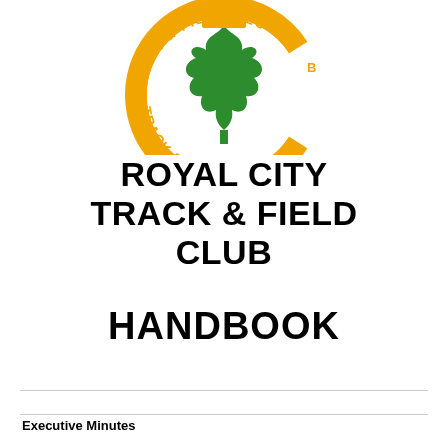[Figure (logo): Royal City Track & Field Club circular logo with green maple leaf and gold/orange text around the border]
ROYAL CITY TRACK & FIELD CLUB
HANDBOOK
Executive Minutes